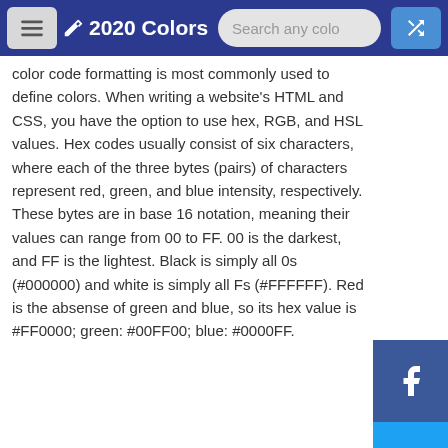2020 Colors — Search any color
color code formatting is most commonly used to define colors. When writing a website's HTML and CSS, you have the option to use hex, RGB, and HSL values. Hex codes usually consist of six characters, where each of the three bytes (pairs) of characters represent red, green, and blue intensity, respectively. These bytes are in base 16 notation, meaning their values can range from 00 to FF. 00 is the darkest, and FF is the lightest. Black is simply all 0s (#000000) and white is simply all Fs (#FFFFFF). Red is the absense of green and blue, so its hex value is #FF0000; green: #00FF00; blue: #0000FF.
Made with 🖥 by Zac Banack.
Thanks to Tailwind, Tailwind Toolbox, graph.js,